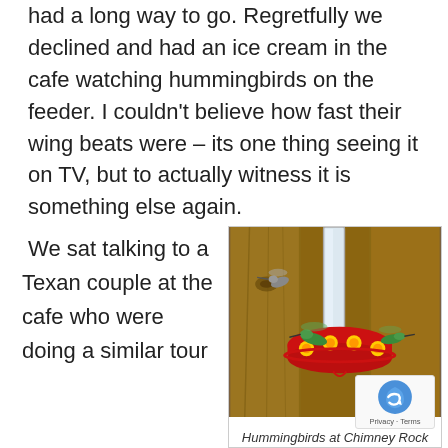had a long way to go. Regretfully we declined and had an ice cream in the cafe watching hummingbirds on the feeder. I couldn't believe how fast their wing beats were – its one thing seeing it on TV, but to actually witness it is something else again.
We sat talking to a Texan couple at the cafe who were doing a similar tour
[Figure (photo): Photo of hummingbirds at a red feeder mounted on a wooden fence/wall. Two or three hummingbirds are visible around a red circular feeder with yellow flower-shaped ports.]
Hummingbirds at Chimney Rock